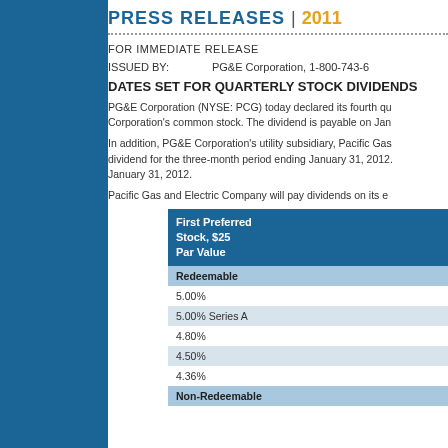PRESS RELEASES | 2011
FOR IMMEDIATE RELEASE
ISSUED BY:    PG&E Corporation, 1-800-743-6
DATES SET FOR QUARTERLY STOCK DIVIDENDS
PG&E Corporation (NYSE: PCG) today declared its fourth qu Corporation's common stock. The dividend is payable on Jan
In addition, PG&E Corporation's utility subsidiary, Pacific Gas dividend for the three-month period ending January 31, 2012 January 31, 2012.
Pacific Gas and Electric Company will pay dividends on its e
| First Preferred Stock, $25 Par Value |
| --- |
| Redeemable |
| 5.00% |
| 5.00% Series A |
| 4.80% |
| 4.50% |
| 4.36% |
| Non-Redeemable |